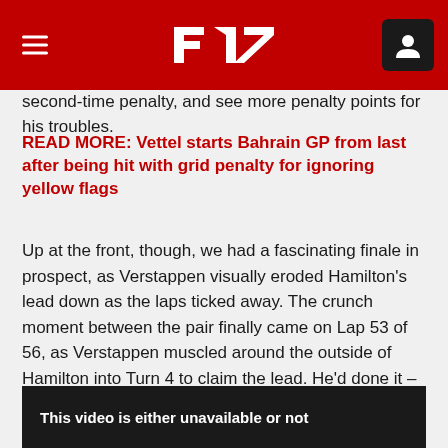F1
second-time penalty, and see more penalty points for his troubles.
READ MORE: Vettel starts Bahrain GP from last after being hit with grid penalty for ignoring yellow flags
Up at the front, though, we had a fascinating finale in prospect, as Verstappen visually eroded Hamilton's lead down as the laps ticked away. The crunch moment between the pair finally came on Lap 53 of 56, as Verstappen muscled around the outside of Hamilton into Turn 4 to claim the lead. He'd done it – only he hadn't, Verstappen having run too wide in the move, and honourably relinquishing the place back to Hamilton on the run down to Turn 11.
This video is either unavailable or not